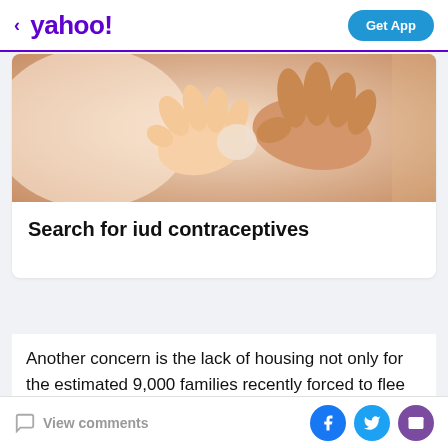< yahoo!  Get App
[Figure (photo): Close-up photo of adult and infant hands holding together, warm skin tones]
Search for iud contraceptives
Another concern is the lack of housing not only for the estimated 9,000 families recently forced to flee their homes, but also for the estimated 20,000 others displaced last year who are still living in overcrowded, dirty government shelters. At the same time, the
View comments